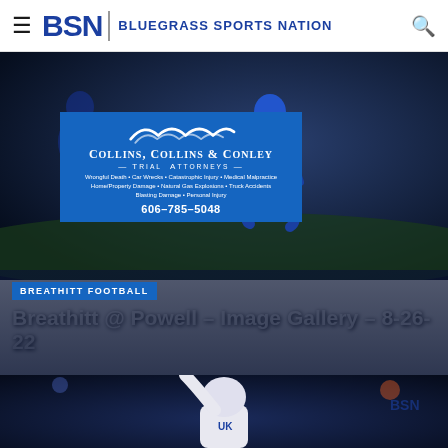BSN | Bluegrass Sports Nation
[Figure (photo): Football player in blue uniform and helmet running on field at night, dark background]
[Figure (photo): Advertisement for Collins, Collins & Conley Trial Attorneys overlaid on football photo. Blue background with white mountain/wave logo. Text: Collins, Collins & Conley Trial Attorneys. Wrongful Death • Car Wrecks • Catastrophic Injury • Medical Malpractice Home/Property Damage • Natural Gas Explosions • Truck Accidents Blasting Damage • Personal Injury. 606-785-5048]
BREATHITT FOOTBALL
Breathitt @ Powell – Image Gallery – 8-26-22
[Figure (photo): Football player in white uniform with helmet raised arm making three-finger gesture on field at night with stadium lights]